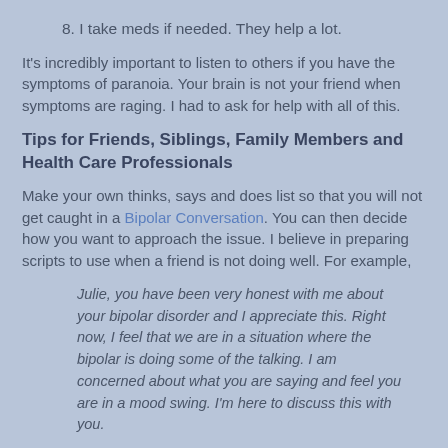8. I take meds if needed. They help a lot.
It's incredibly important to listen to others if you have the symptoms of paranoia. Your brain is not your friend when symptoms are raging. I had to ask for help with all of this.
Tips for Friends, Siblings, Family Members and Health Care Professionals
Make your own thinks, says and does list so that you will not get caught in a Bipolar Conversation. You can then decide how you want to approach the issue. I believe in preparing scripts to use when a friend is not doing well. For example,
Julie, you have been very honest with me about your bipolar disorder and I appreciate this. Right now, I feel that we are in a situation where the bipolar is doing some of the talking. I am concerned about what you are saying and feel you are in a mood swing. I'm here to discuss this with you.